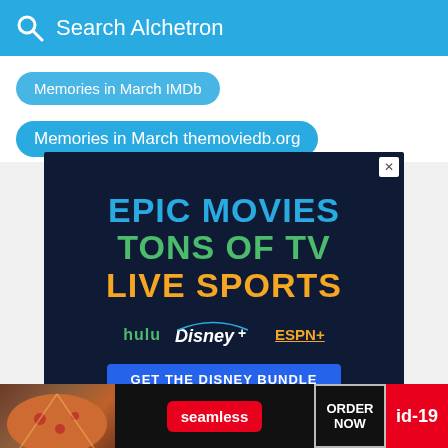Search Alchetron
Memories in March IMDb
Memories in March themoviedb.org
[Figure (screenshot): Disney Bundle advertisement with dark navy background. Text reads: EPIC MOVIES (blue), TONS OF TV (green), LIVE SPORTS (yellow). Shows hulu, Disney+, ESPN+ logos and a blue button saying GET THE DISNEY BUNDLE. Small text: Incl. Hulu (ad-supported) or Hulu (No Ads). Access content from each service separately. ©2021 Disney and its related entities. Bottom has a colorful gradient bar.]
[Figure (screenshot): Seamless food delivery advertisement showing pizza image on left, Seamless red logo in center, ORDER NOW box, and id-19 red badge on right.]